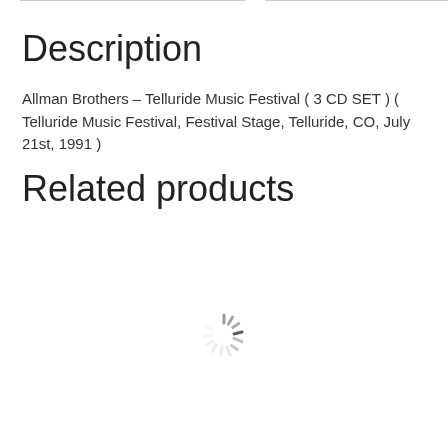Description
Allman Brothers – Telluride Music Festival ( 3 CD SET ) ( Telluride Music Festival, Festival Stage, Telluride, CO, July 21st, 1991 )
Related products
[Figure (other): Loading spinner/throbber animation indicator]